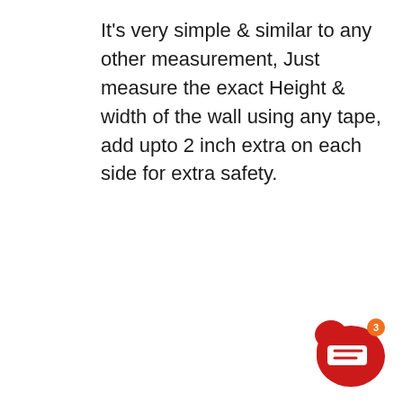It's very simple & similar to any other measurement, Just measure the exact Height & width of the wall using any tape, add upto 2 inch extra on each side for extra safety.
[Figure (other): Red rounded chat/messaging button icon with a white speech bubble symbol and a small orange badge showing the number 3, positioned in the bottom-right corner of the page.]